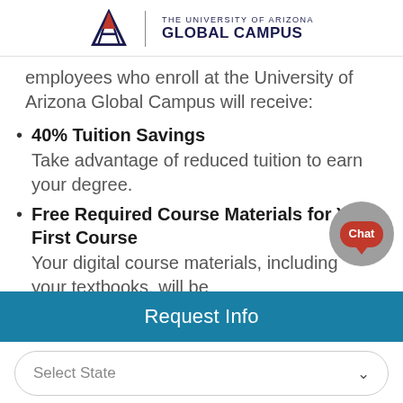THE UNIVERSITY OF ARIZONA GLOBAL CAMPUS
employees who enroll at the University of Arizona Global Campus will receive:
40% Tuition Savings
Take advantage of reduced tuition to earn your degree.
Free Required Course Materials for Your First Course
Your digital course materials, including your textbooks, will be
[Figure (illustration): Chat bubble button overlay in bottom-right area]
Request Info
Select State